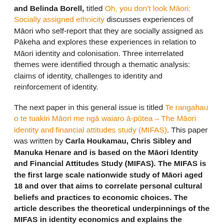and Belinda Borell, titled Oh, you don't look Māori: Socially assigned ethnicity discusses experiences of Māori who self-report that they are socially assigned as Pākeha and explores these experiences in relation to Māori identity and colonisation. Three interrelated themes were identified through a thematic analysis: claims of identity, challenges to identity and reinforcement of identity.
The next paper in this general issue is titled Te rangahau o te tuakiri Māori me ngā waiaro ā-pūtea – The Māori identity and financial attitudes study (MIFAS). This paper was written by Carla Houkamau, Chris Sibley and Manuka Henare and is based on the Māori Identity and Financial Attitudes Study (MIFAS). The MIFAS is the first large scale nationwide study of Māori aged 18 and over that aims to correlate personal cultural beliefs and practices to economic choices. The article describes the theoretical underpinnings of the MIFAS in identity economics and explains the process by which we have used Western methods and methodology to explicate the relationship between Māori identity and economic activity.